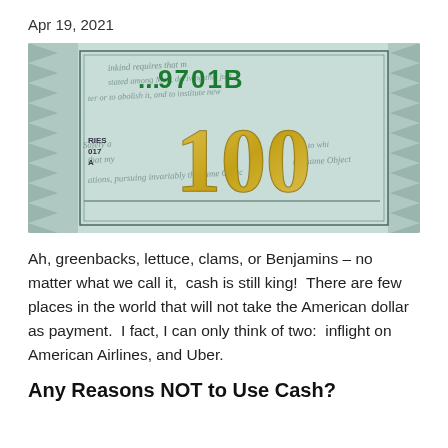Apr 19, 2021
[Figure (photo): Close-up photograph of a US $100 bill showing the golden '100' numeral prominently, with partial serial number '...9701B' visible in green, and cursive text from the Declaration of Independence in the background. Left side shows 'RIES 017 A' in small text.]
Ah, greenbacks, lettuce, clams, or Benjamins – no matter what we call it,  cash is still king!  There are few places in the world that will not take the American dollar as payment.  I fact, I can only think of two:  inflight on American Airlines, and Uber.
Any Reasons NOT to Use Cash?